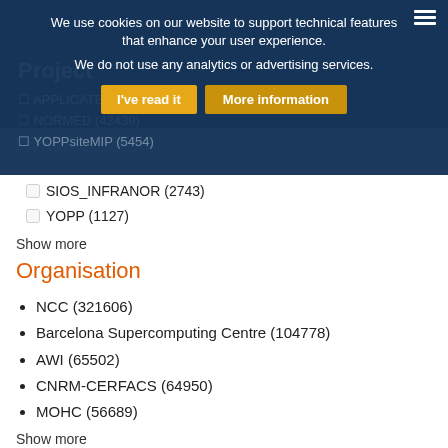We use cookies on our website to support technical features that enhance your user experience.
We do not use any analytics or advertising services.
I've read it   More information
Project
APPLICATE (613677)
NORMED (42439)
YOPPsiteMIP (5454)
SIOS_INFRANOR (2743)
YOPP (1127)
Show more
Organisation
NCC (321606)
Barcelona Supercomputing Centre (104778)
AWI (65502)
CNRM-CERFACS (64950)
MOHC (56689)
Show more
Publisher